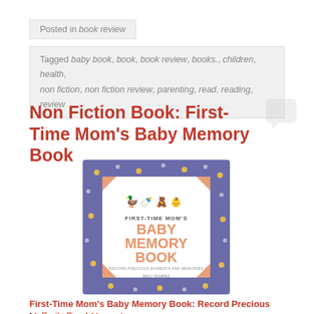Posted in book review
Tagged baby book, book, book review, books., children, health, non fiction, non fiction review, parenting, read, reading, review
Non Fiction Book: First-Time Mom's Baby Memory Book
[Figure (photo): Book cover of 'First-Time Mom's Baby Memory Book: Record Precious Moments and Memories' — purple cover with white polka dots and illustration of baby items]
First-Time Mom's Baby Memory Book: Record Precious Moments and Memories
by Emily Ramirez